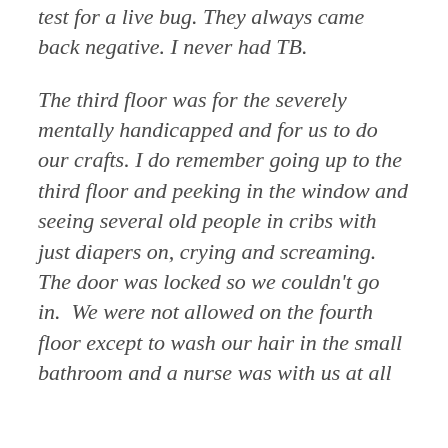test for a live bug. They always came back negative. I never had TB.
The third floor was for the severely mentally handicapped and for us to do our crafts. I do remember going up to the third floor and peeking in the window and seeing several old people in cribs with just diapers on, crying and screaming. The door was locked so we couldn't go in.  We were not allowed on the fourth floor except to wash our hair in the small bathroom and a nurse was with us at all